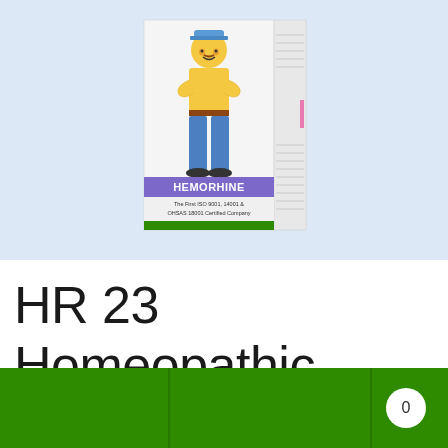[Figure (photo): Product box of Hemorhine homeopathic medicine. The box shows a cartoon man in yellow shirt and blue pants holding his lower back/abdomen in discomfort. The box has a purple/blue band with 'HEMORHINE' text in white, and below it reads 'The First ISO 9001, 14001 & OHSAS 18001 Certified Company'. The bottom of the box has a green stripe. The box is set against a light blue background.]
HR 23 Homeopathic Medicine